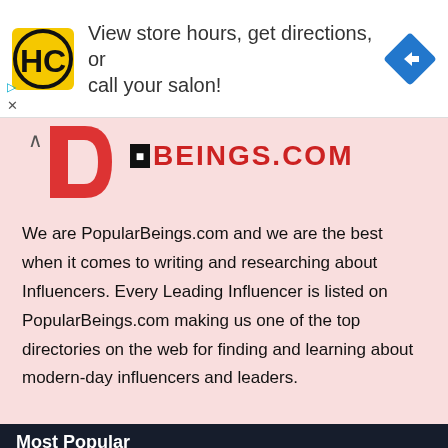[Figure (infographic): Advertisement banner with HC (Haircut) logo on left, text 'View store hours, get directions, or call your salon!' in center, and blue diamond navigation icon on right]
[Figure (logo): PopularBeings.com logo with large red D letter and bold text BEINGS.COM with black square icon]
We are PopularBeings.com and we are the best when it comes to writing and researching about Influencers. Every Leading Influencer is listed on PopularBeings.com making us one of the top directories on the web for finding and learning about modern-day influencers and leaders.
Most Popular
Havanna Winter – Tiktok & Instagram Fame – Age, Wiki, Photos & More